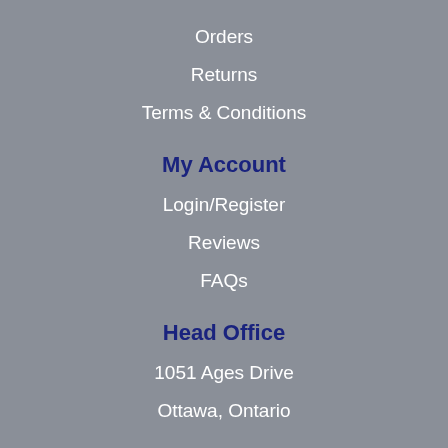Orders
Returns
Terms & Conditions
My Account
Login/Register
Reviews
FAQs
Head Office
1051 Ages Drive
Ottawa, Ontario